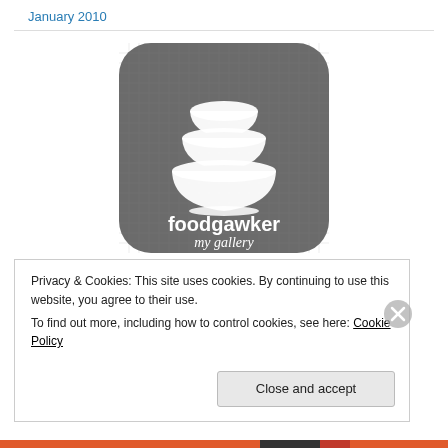January 2010
[Figure (logo): Foodgawker my gallery logo — dark grey rounded square with stacked white bowls illustration and text 'foodgawker my gallery']
Privacy & Cookies: This site uses cookies. By continuing to use this website, you agree to their use.
To find out more, including how to control cookies, see here: Cookie Policy
Close and accept